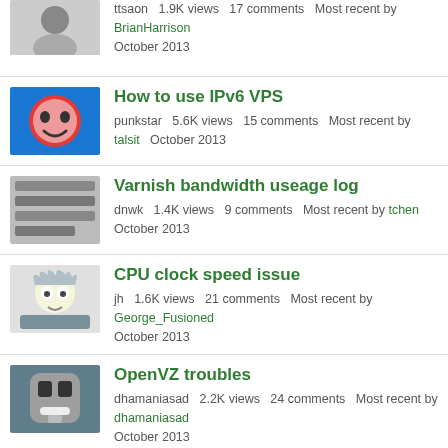ttsaon  1.9K views  17 comments  Most recent by BrianHarrison  October 2013
How to use IPv6 VPS — punkstar  5.6K views  15 comments  Most recent by talsit  October 2013
Varnish bandwidth useage log — dnwk  1.4K views  9 comments  Most recent by tchen  October 2013
CPU clock speed issue — jh  1.6K views  21 comments  Most recent by George_Fusioned  October 2013
OpenVZ troubles — dhamaniasad  2.2K views  24 comments  Most recent by dhamaniasad  October 2013
Ioncube Loaders — DediSecure  1K views  2 comments  Most recent by DediSecure  October 2013
Using a spare VPS for backup — techkken  856 views  4 comments  Most recent by Abdussamad  October 2013